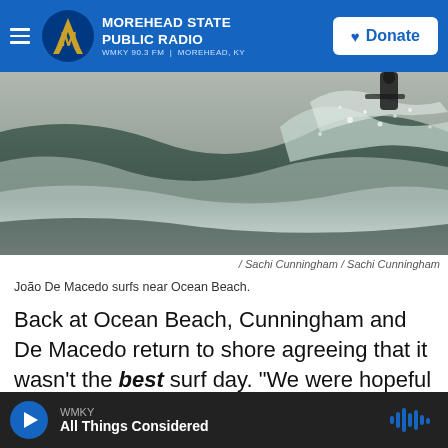MOREHEAD STATE PUBLIC RADIO WMKY 90.3 FM | MOREHEAD, KY
[Figure (photo): Black and white photo of a surfer riding a wave near Ocean Beach, shot from water level showing spray and turbulence]
/ Sachi Cunningham / Sachi Cunningham
João De Macedo surfs near Ocean Beach.
Back at Ocean Beach, Cunningham and De Macedo return to shore agreeing that it wasn't the best surf day. "We were hopeful we were gonna get a cover for Surfer Magazine, but ..." De Macedo laughs.
WMKY All Things Considered